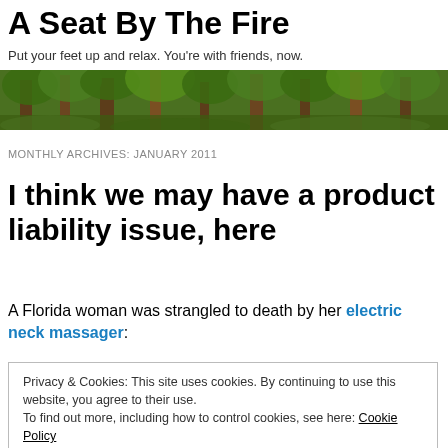A Seat By The Fire
Put your feet up and relax. You're with friends, now.
[Figure (photo): Forest/nature banner image with green trees and foliage]
MONTHLY ARCHIVES: JANUARY 2011
I think we may have a product liability issue, here
A Florida woman was strangled to death by her electric neck massager:
Privacy & Cookies: This site uses cookies. By continuing to use this website, you agree to their use.
To find out more, including how to control cookies, see here: Cookie Policy
Sheriff's Office: